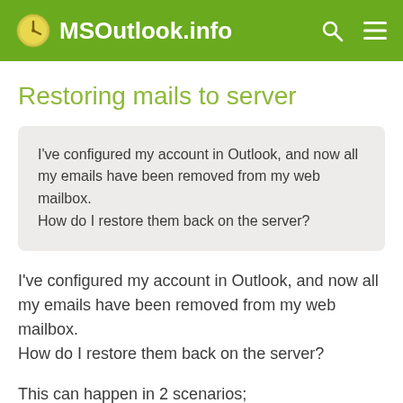MSOutlook.info
Restoring mails to server
I've configured my account in Outlook, and now all my emails have been removed from my web mailbox.
How do I restore them back on the server?
I've configured my account in Outlook, and now all my emails have been removed from my web mailbox.
How do I restore them back on the server?
This can happen in 2 scenarios;